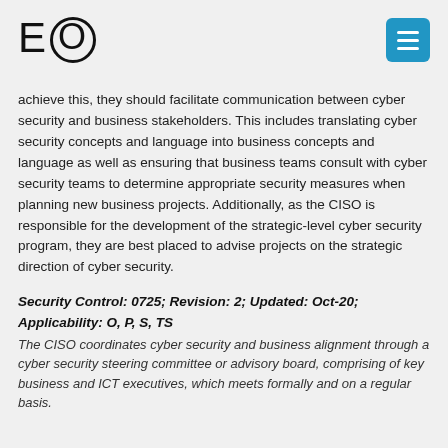EO
achieve this, they should facilitate communication between cyber security and business stakeholders. This includes translating cyber security concepts and language into business concepts and language as well as ensuring that business teams consult with cyber security teams to determine appropriate security measures when planning new business projects. Additionally, as the CISO is responsible for the development of the strategic-level cyber security program, they are best placed to advise projects on the strategic direction of cyber security.
Security Control: 0725; Revision: 2; Updated: Oct-20; Applicability: O, P, S, TS
The CISO coordinates cyber security and business alignment through a cyber security steering committee or advisory board, comprising of key business and ICT executives, which meets formally and on a regular basis.